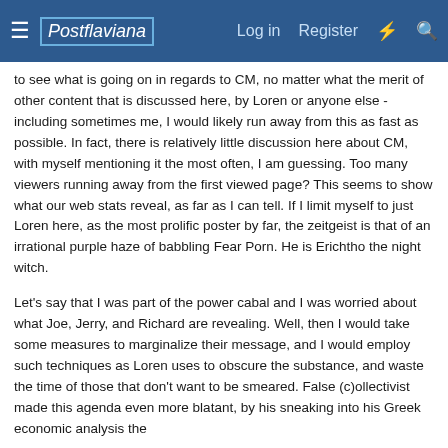≡ Postflaviana   Log in   Register   ⚡   🔍
to see what is going on in regards to CM, no matter what the merit of other content that is discussed here, by Loren or anyone else - including sometimes me, I would likely run away from this as fast as possible. In fact, there is relatively little discussion here about CM, with myself mentioning it the most often, I am guessing. Too many viewers running away from the first viewed page? This seems to show what our web stats reveal, as far as I can tell. If I limit myself to just Loren here, as the most prolific poster by far, the zeitgeist is that of an irrational purple haze of babbling Fear Porn. He is Erichtho the night witch.
Let's say that I was part of the power cabal and I was worried about what Joe, Jerry, and Richard are revealing. Well, then I would take some measures to marginalize their message, and I would employ such techniques as Loren uses to obscure the substance, and waste the time of those that don't want to be smeared. False (c)ollectivist made this agenda even more blatant, by his sneaking into his Greek economic analysis the